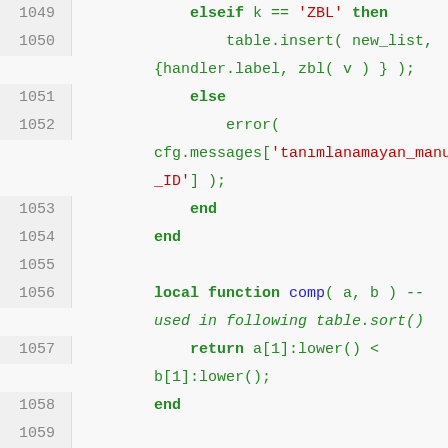1049    elseif k == 'ZBL' then
1050        table.insert( new_list,
        {handler.label, zbl( v ) } );
1051        else
1052            error(
        cfg.messages['tanimlanamayan_manuel
        _ID'] );
1053            end
1054        end
1055
1056        local function comp( a, b ) --
        used in following table.sort()
1057            return a[1]:lower() <
        b[1]:lower();
1058        end
1059
1060        table.sort( new_list, comp );